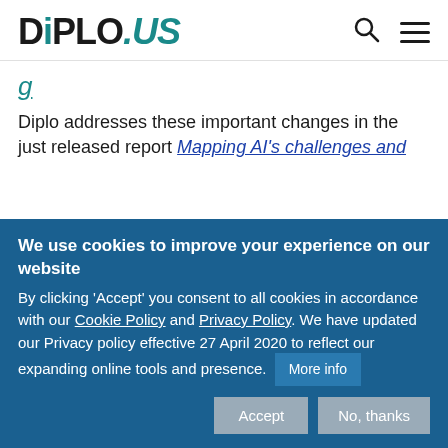DiPLO.US
g
Diplo addresses these important changes in the just released report Mapping AI's challenges and
We use cookies to improve your experience on our website
By clicking 'Accept' you consent to all cookies in accordance with our Cookie Policy and Privacy Policy. We have updated our Privacy policy effective 27 April 2020 to reflect our expanding online tools and presence.
More info
Accept   No, thanks